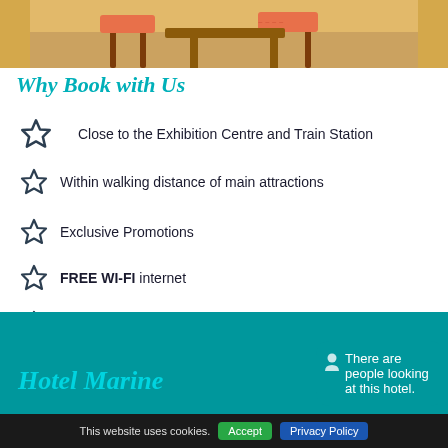[Figure (photo): Hotel room image showing wooden chairs on a tiled floor with yellow/golden background]
Why Book with Us
Close to the Exhibition Centre and Train Station
Within walking distance of main attractions
Exclusive Promotions
FREE WI-FI internet
Central Location
[Figure (screenshot): Popup notification: There are people looking at this hotel.]
Hotel Marine
This website uses cookies.
Accept
Privacy Policy